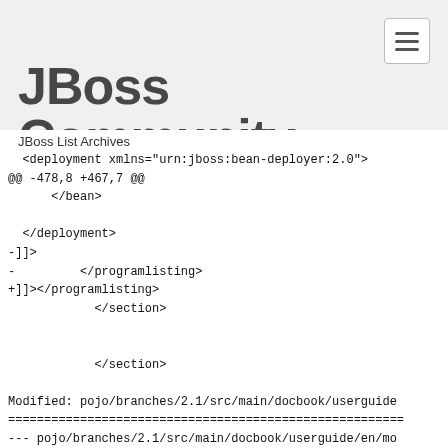JBoss Community
JBoss List Archives
<deployment xmlns="urn:jboss:bean-deployer:2.0">
@@ -478,8 +467,7 @@
       </bean>

  </deployment>
-]]>
-         </programlisting>
+]]></programlisting>
            </section>


            </section>

Modified: pojo/branches/2.1/src/main/docbook/userguide
==================================================
--- pojo/branches/2.1/src/main/docbook/userguide/en/mo
23:10:40 UTC (rev 5415)
+++ pojo/branches/2.1/src/main/docbook/userguide/en/mo